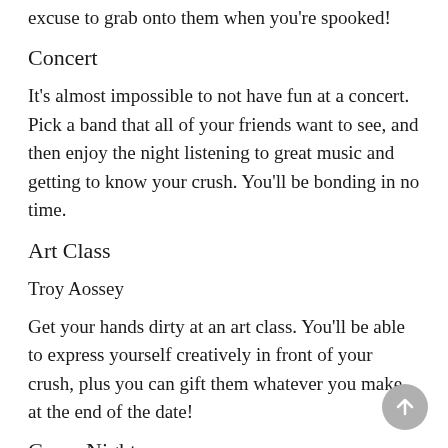excuse to grab onto them when you're spooked!
Concert
It's almost impossible to not have fun at a concert. Pick a band that all of your friends want to see, and then enjoy the night listening to great music and getting to know your crush. You'll be bonding in no time.
Art Class
Troy Aossey
Get your hands dirty at an art class. You'll be able to express yourself creatively in front of your crush, plus you can gift them whatever you make at the end of the date!
Game Night